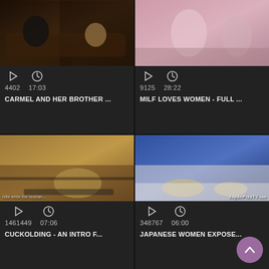[Figure (screenshot): Video thumbnail grid showing 4 video cards in a 2x2 layout, each with a thumbnail image, play count, duration, and title.]
4402  17:03
CARMEL AND HER BROTHER...
9125  28:22
MILF LOVES WOMEN - FULL ...
1461449  07:06
CUCKOLDING - AN INTRO F...
348767  06:00
JAPANESE WOMEN EXPOSE...